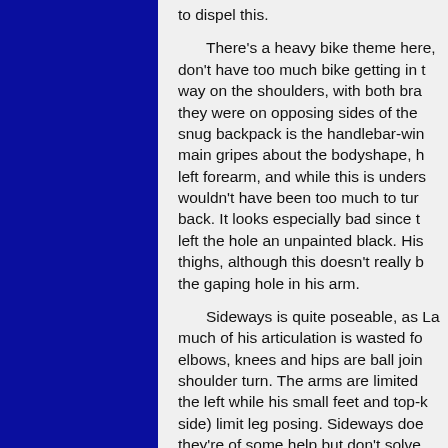to dispel this.

There's a heavy bike theme here, don't have too much bike getting in t way on the shoulders, with both bra they were on opposing sides of the snug backpack is the handlebar-win main gripes about the bodyshape, h left forearm, and while this is unders wouldn't have been too much to tur back. It looks especially bad since t left the hole an unpainted black. His thighs, although this doesn't really b the gaping hole in his arm.

Sideways is quite poseable, as La much of his articulation is wasted fo elbows, knees and hips are ball join shoulder turn. The arms are limited the left while his small feet and top-k side) limit leg posing. Sideways doe they're of some help but don't solve well but dynamic poses are pretty li knees which doesn't help matters.